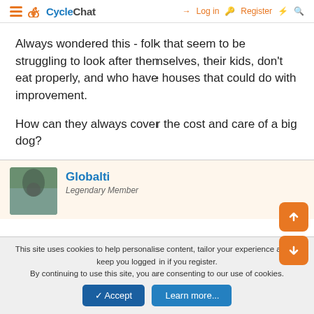CycleChat — Log in | Register
Always wondered this - folk that seem to be struggling to look after themselves, their kids, don't eat properly, and who have houses that could do with improvement.
How can they always cover the cost and care of a big dog?
Globalti
Legendary Member
This site uses cookies to help personalise content, tailor your experience and to keep you logged in if you register.
By continuing to use this site, you are consenting to our use of cookies.